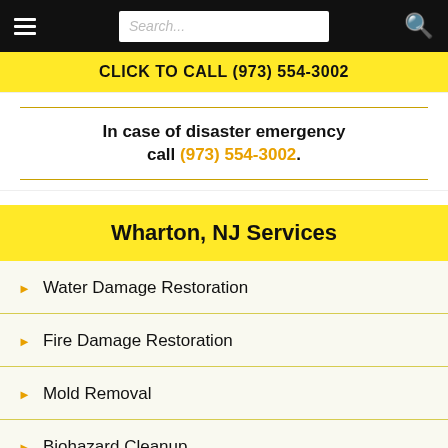Search...
CLICK TO CALL (973) 554-3002
In case of disaster emergency call (973) 554-3002.
Wharton, NJ Services
Water Damage Restoration
Fire Damage Restoration
Mold Removal
Biohazard Cleanup